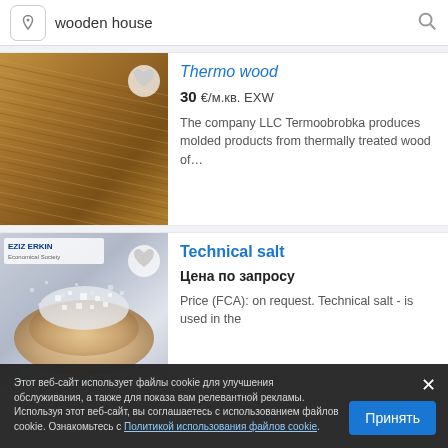[Figure (screenshot): Search bar with location icon, text 'wooden house', and search magnifier icon]
[Figure (photo): Thermo wood product - close-up of thermally treated wood planks with striped grain texture]
Thermo wood
30 €/м.кв. EXW
The company LLC Termoobrobka produces molded products from thermally treated wood of...
[Figure (photo): Technical salt - hands holding white crystalline salt, with EZIZ ERKIN brand logo overlay]
Technical salt
Цена по запросу
Price (FCA): on request. Technical salt - is used in the
Этот веб-сайт использует файлы cookie для улучшения обслуживания, а также для показа вам релевантной рекламы. Используя этот веб-сайт, вы соглашаетесь с использованием файлов cookie. Ознакомьтесь с Политикой использования файлов cookie.